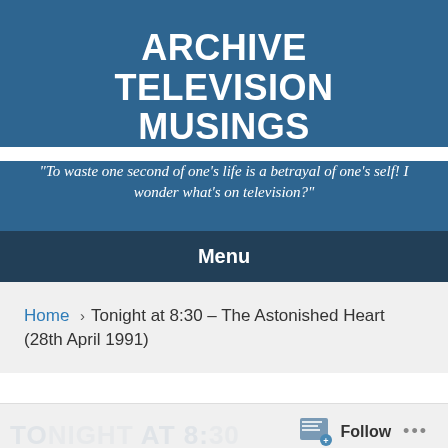ARCHIVE TELEVISION MUSINGS
"To waste one second of one's life is a betrayal of one's self! I wonder what's on television?"
Menu
Home > Tonight at 8:30 – The Astonished Heart (28th April 1991)
Follow ...